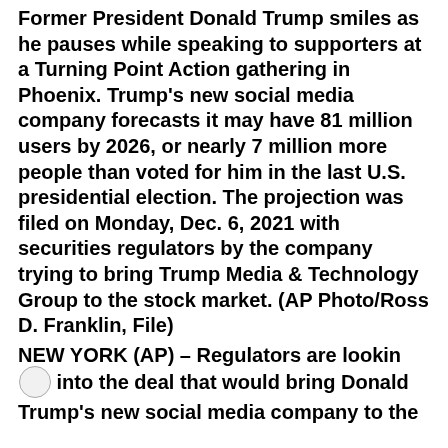Former President Donald Trump smiles as he pauses while speaking to supporters at a Turning Point Action gathering in Phoenix. Trump's new social media company forecasts it may have 81 million users by 2026, or nearly 7 million more people than voted for him in the last U.S. presidential election. The projection was filed on Monday, Dec. 6, 2021 with securities regulators by the company trying to bring Trump Media & Technology Group to the stock market. (AP Photo/Ross D. Franklin, File)
NEW YORK (AP) – Regulators are looking into the deal that would bring Donald Trump's new social media company to the